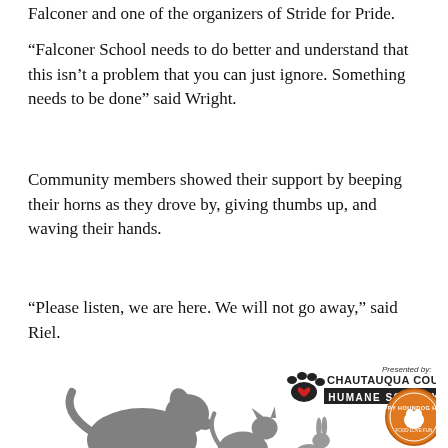Falconer and one of the organizers of Stride for Pride.
“Falconer School needs to do better and understand that this isn’t a problem that you can just ignore. Something needs to be done” said Wright.
Community members showed their support by beeping their horns as they drove by, giving thumbs up, and waving their hands.
“Please listen, we are here. We will not go away,” said Riel.
[Figure (logo): Walk for Paws advertisement featuring Chautauqua County Humane Society logo with silhouettes of a dog, cat, and rabbit, text WALK FOR PAWS in teal and orange letters, Presented by Happy Hound Hotel circular logo, and Special Thanks To section with red underline.]